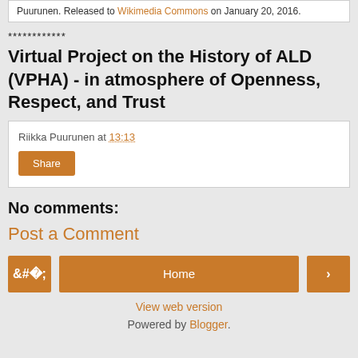Puurunen. Released to Wikimedia Commons on January 20, 2016.
************
Virtual Project on the History of ALD (VPHA) - in atmosphere of Openness, Respect, and Trust
Riikka Puurunen at 13:13
Share
No comments:
Post a Comment
‹ Home › View web version Powered by Blogger.